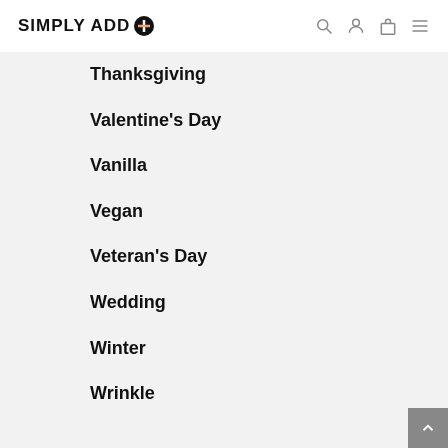SIMPLY ADD
Thanksgiving
Valentine's Day
Vanilla
Vegan
Veteran's Day
Wedding
Winter
Wrinkle